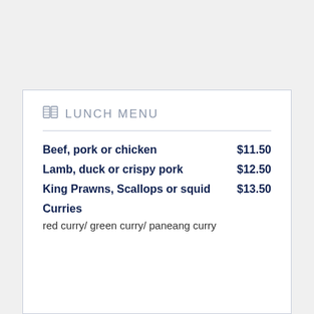LUNCH MENU
Beef, pork or chicken   $11.50
Lamb, duck or crispy pork   $12.50
King Prawns, Scallops or squid   $13.50
Curries
red curry/ green curry/ paneang curry